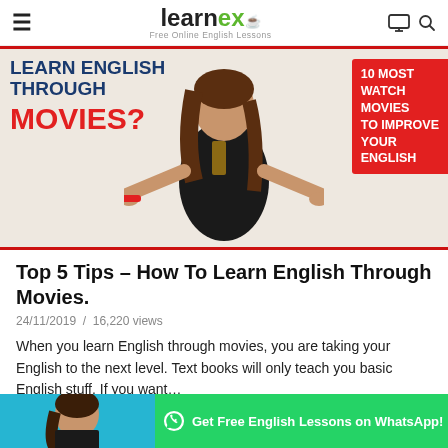learnex – Free Online English Lessons
[Figure (photo): Thumbnail image: woman in black dress with arms outstretched, text overlay 'Learn English Through Movies?' on left in blue/red, '10 Most Watch Movies To Improve Your English' in red box on right]
Top 5 Tips – How To Learn English Through Movies.
24/11/2019 / 16,220 views
When you learn English through movies, you are taking your English to the next level. Text books will only teach you basic English stuff. If you want...
[Figure (screenshot): Bottom strip: thumbnail of person on left with teal background, green WhatsApp button 'Get Free English Lessons on WhatsApp!']